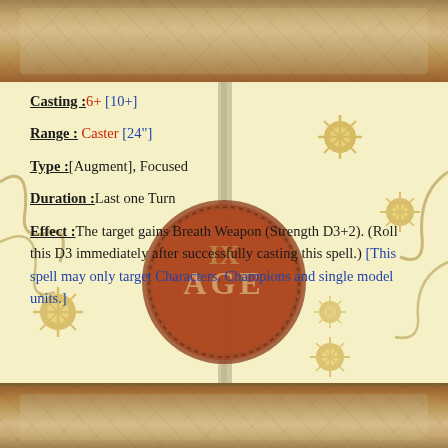[Figure (illustration): Parchment scroll top banner with cracked aged texture in brown and tan tones]
Casting :6+ [10+]
Range : Caster [24"]
Type :[Augment], Focused
Duration :Last one Turn
Effect :The target gains Breath Weapon (Strength D3+2). (Roll this D3 immediately after successfully casting this spell.) [This spell may only target Characters, Champions and single model units.]
[Figure (illustration): Fantasy game card background with wax seal stamped 'AGE', decorative sun/star symbols, and vine tendrils on a pale yellow background]
[Figure (illustration): Parchment scroll bottom banner with cracked aged texture in brown and tan tones]